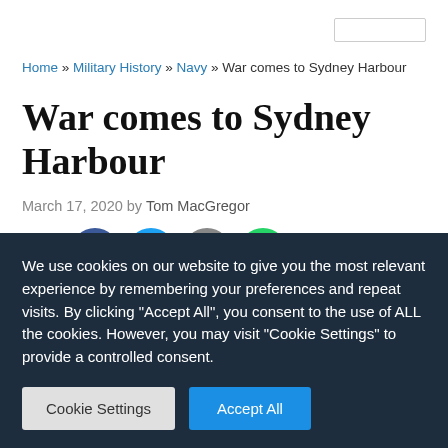Home » Military History » Navy » War comes to Sydney Harbour
War comes to Sydney Harbour
March 17, 2020 by Tom MacGregor
188
We use cookies on our website to give you the most relevant experience by remembering your preferences and repeat visits. By clicking "Accept All", you consent to the use of ALL the cookies. However, you may visit "Cookie Settings" to provide a controlled consent.
Cookie Settings | Accept All